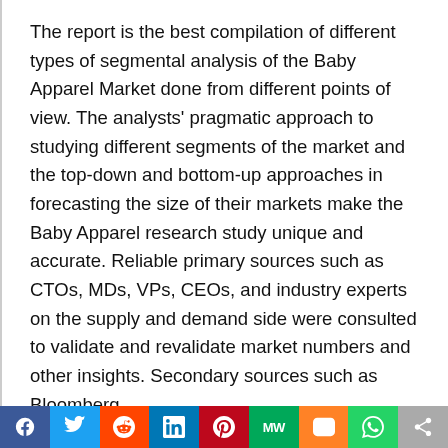The report is the best compilation of different types of segmental analysis of the Baby Apparel Market done from different points of view. The analysts' pragmatic approach to studying different segments of the market and the top-down and bottom-up approaches in forecasting the size of their markets make the Baby Apparel research study unique and accurate. Reliable primary sources such as CTOs, MDs, VPs, CEOs, and industry experts on the supply and demand side were consulted to validate and revalidate market numbers and other insights. Secondary sources such as Bloomberg,